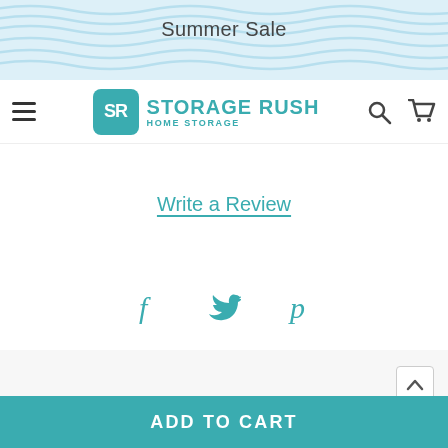Summer Sale
[Figure (logo): Storage Rush Home Storage logo with SR monogram in teal box, search and cart icons in navigation bar]
Write a Review
[Figure (infographic): Social sharing icons: Facebook (f), Twitter (bird), Pinterest (P) in teal color]
Worldwide Shipping
Enjoy flexible international shipping services that currently operate in over 200 countries
ADD TO CART